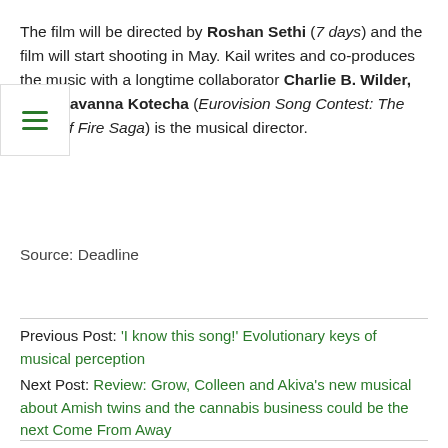The film will be directed by Roshan Sethi (7 days) and the film will start shooting in May. Kail writes and co-produces the music with a longtime collaborator Charlie B. Wilder, while Savanna Kotecha (Eurovision Song Contest: The Story of Fire Saga) is the musical director.
Source: Deadline
Previous Post: 'I know this song!' Evolutionary keys of musical perception
Next Post: Review: Grow, Colleen and Akiva's new musical about Amish twins and the cannabis business could be the next Come From Away